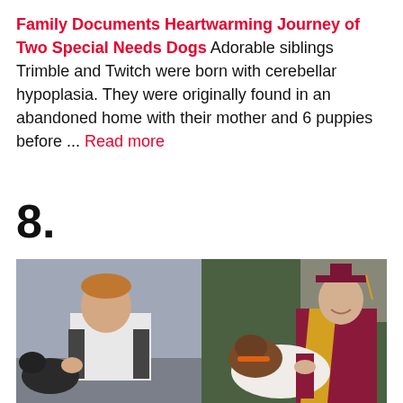Family Documents Heartwarming Journey of Two Special Needs Dogs Adorable siblings Trimble and Twitch were born with cerebellar hypoplasia. They were originally found in an abandoned home with their mother and 6 puppies before ... Read more
8.
[Figure (photo): Side-by-side photo: left shows a young boy sitting with a small dark dog; right shows a teenage boy in maroon graduation cap and gown with yellow stole sitting next to a grown brown and white dog outdoors.]
[Figure (screenshot): Advertisement banner showing Lidl logo with checkmark and text 'In-store shopping' and a blue navigation arrow icon, with play and close icons below.]